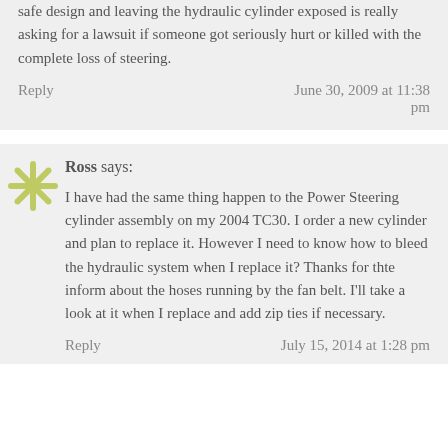safe design and leaving the hydraulic cylinder exposed is really asking for a lawsuit if someone got seriously hurt or killed with the complete loss of steering.
Reply   June 30, 2009 at 11:38 pm
Ross says:
I have had the same thing happen to the Power Steering cylinder assembly on my 2004 TC30. I order a new cylinder and plan to replace it. However I need to know how to bleed the hydraulic system when I replace it? Thanks for thte inform about the hoses running by the fan belt. I'll take a look at it when I replace and add zip ties if necessary.
Reply   July 15, 2014 at 1:28 pm